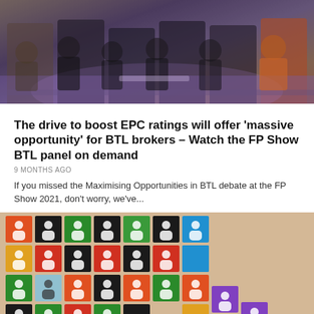[Figure (photo): Panel of people seated at a conference or event, with purple/violet lighting in the background. Several people dressed in business attire, one person wearing an orange leopard-print outfit on the right.]
The drive to boost EPC ratings will offer 'massive opportunity' for BTL brokers – Watch the FP Show BTL panel on demand
9 MONTHS AGO
If you missed the Maximising Opportunities in BTL debate at the FP Show 2021, don't worry, we've...
[Figure (photo): Colorful puzzle pieces shaped like human silhouettes on a beige/tan background. Pieces are various colors including red, green, blue, orange, black, teal, and purple, with white person icons on each piece.]